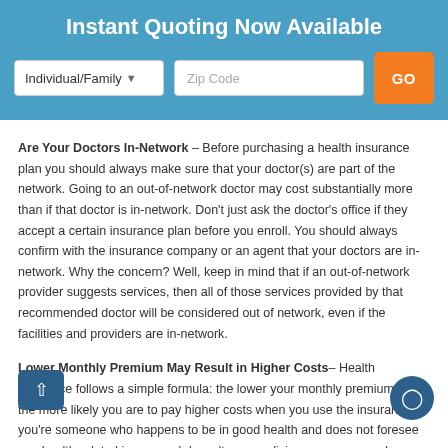Instant Quoting Now Available
[Figure (screenshot): Insurance quoting form with Individual/Family dropdown, Zip Code input, and GO button]
Are Your Doctors In-Network – Before purchasing a health insurance plan you should always make sure that your doctor(s) are part of the network. Going to an out-of-network doctor may cost substantially more than if that doctor is in-network. Don't just ask the doctor's office if they accept a certain insurance plan before you enroll. You should always confirm with the insurance company or an agent that your doctors are in-network. Why the concern? Well, keep in mind that if an out-of-network provider suggests services, then all of those services provided by that recommended doctor will be considered out of network, even if the facilities and providers are in-network.
Lower Monthly Premium May Result in Higher Costs– Health insurance follows a simple formula: the lower your monthly premium is, the more likely you are to pay higher costs when you use the insurance. If you're someone who happens to be in good health and does not foresee any health-related issues and doesn't use medicine on a very regular basis, then perhaps you're better off opting for a lower costing health insurance plan. However, if you find that your medical expenses and prescription usages are high, then you may save money by purchasing a plan that costs more per month. Be sure to consider your current health condition when shopping for a health insurance plan.